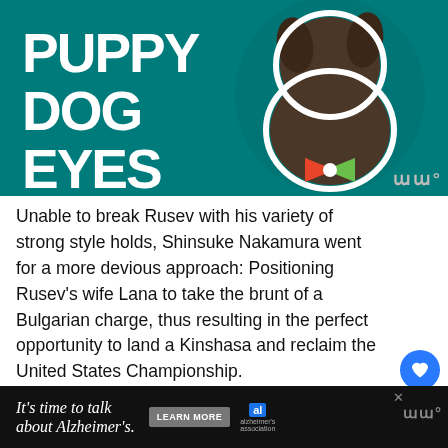[Figure (illustration): Advertisement banner with teal background showing a brindle dog with a colorful bow tie, with large white bold text reading PUPPY DOG EYES]
Unable to break Rusev with his variety of strong style holds, Shinsuke Nakamura went for a more devious approach: Positioning Rusev’s wife Lana to take the brunt of a Bulgarian charge, thus resulting in the perfect opportunity to land a Kinshasa and reclaim the United States Championship.
WWE Cruiserweight Champion Buddy Murphy def. Kalisto, Akira Tozawa and Hideo Itami (Fatal 4-Way Match)
[Figure (advertisement): Black bottom ad bar with white italic text reading It’s time to talk about Alzheimer’s. with Learn More button and Alzheimer's Association logo]